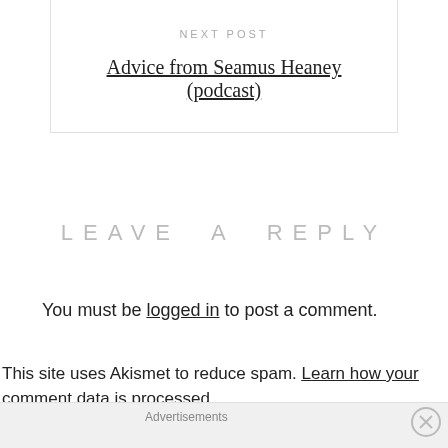NEXT POST
Advice from Seamus Heaney (podcast)
LEAVE A REPLY
You must be logged in to post a comment.
This site uses Akismet to reduce spam. Learn how your comment data is processed.
Advertisements